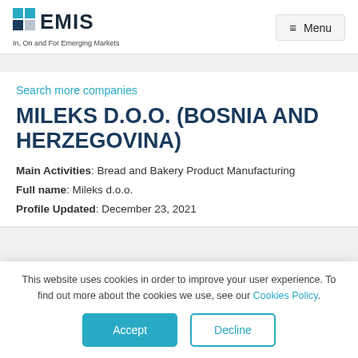EMIS — In, On and For Emerging Markets | Menu
Search more companies
MILEKS D.O.O. (BOSNIA AND HERZEGOVINA)
Main Activities: Bread and Bakery Product Manufacturing
Full name: Mileks d.o.o.
Profile Updated: December 23, 2021
This website uses cookies in order to improve your user experience. To find out more about the cookies we use, see our Cookies Policy.